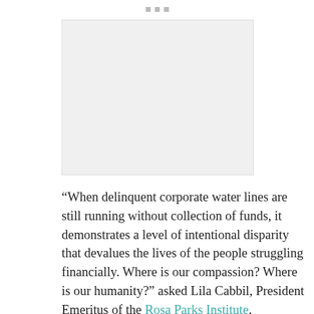• • •
[Figure (photo): Image placeholder area at top of page]
“When delinquent corporate water lines are still running without collection of funds, it demonstrates a level of intentional disparity that devalues the lives of the people struggling financially. Where is our compassion? Where is our humanity?” asked Lila Cabbil, President Emeritus of the Rosa Parks Institute.
In 2013, Detroit declared bankruptcy and appointed Kevyn Orr as emergency manager,